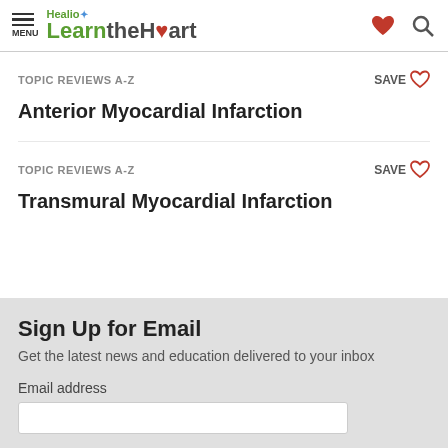MENU | Healio LearntheHeart
TOPIC REVIEWS A-Z
Anterior Myocardial Infarction
TOPIC REVIEWS A-Z
Transmural Myocardial Infarction
Sign Up for Email
Get the latest news and education delivered to your inbox
Email address